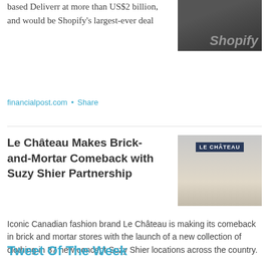based Deliverr at more than US$2 billion, and would be Shopify's largest-ever deal
[Figure (photo): Photo of Shopify interior/signage]
financialpost.com  •  Share
Le Château Makes Brick-and-Mortar Comeback with Suzy Shier Partnership
[Figure (photo): Photo of Le Château store front with sign]
Iconic Canadian fashion brand Le Château is making its comeback in brick and mortar stores with the launch of a new collection of clothing in 37 new concept Suzy Shier locations across the country.
retail-insider.com  •  Share
Tweet Of The Week